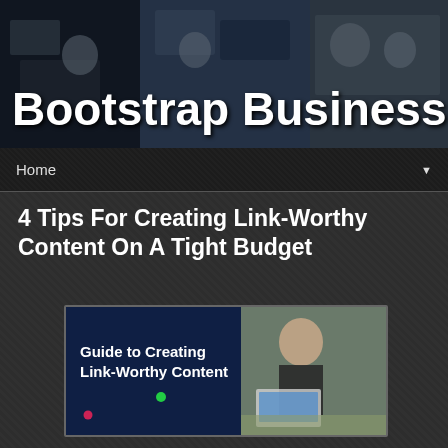[Figure (photo): Bootstrap Business website header banner showing collage of office/business people photos with site title overlay]
Bootstrap Business
Home ▼
4 Tips For Creating Link-Worthy Content On A Tight Budget
[Figure (photo): Thumbnail image with dark blue background reading 'Guide to Creating Link-Worthy Content' on the left and a person working at a laptop on the right]
In the world of SEO, blogging, and content